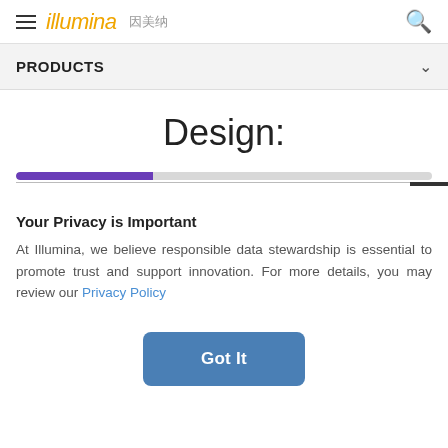illumina 因美纳
PRODUCTS
Design:
Your Privacy is Important
At Illumina, we believe responsible data stewardship is essential to promote trust and support innovation. For more details, you may review our Privacy Policy
Got It